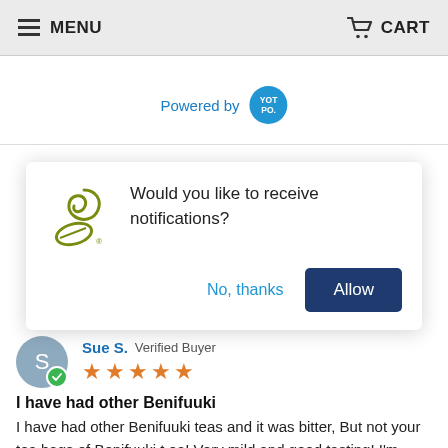MENU   CART
[Figure (logo): Powered by YotPo badge logo]
[Figure (screenshot): Browser notification popup: Would you like to receive notifications? with No, thanks and Allow buttons]
Sue S.  Verified Buyer
[Figure (other): 5 star rating with orange stars]
I have had other Benifuuki
I have had other Benifuuki teas and it was bitter, But not your tea bags of Benifuuki tea! Very mild and good tasting! I'm enjoying that and the other tea which also mild an d...